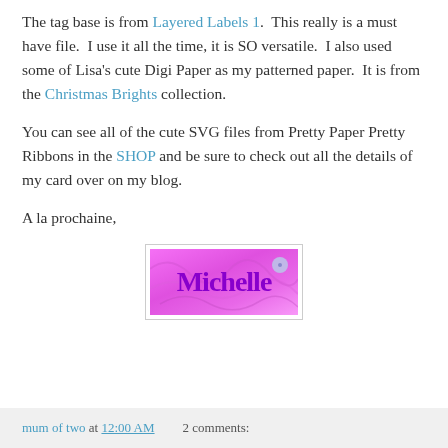The tag base is from Layered Labels 1. This really is a must have file. I use it all the time, it is SO versatile. I also used some of Lisa's cute Digi Paper as my patterned paper. It is from the Christmas Brights collection.
You can see all of the cute SVG files from Pretty Paper Pretty Ribbons in the SHOP and be sure to check out all the details of my card over on my blog.
A la prochaine,
[Figure (illustration): A pink/magenta signature graphic with the name 'Michelle' written in purple script font with decorative swirls and a button embellishment, inside a light gray bordered box.]
mum of two at 12:00 AM   2 comments: